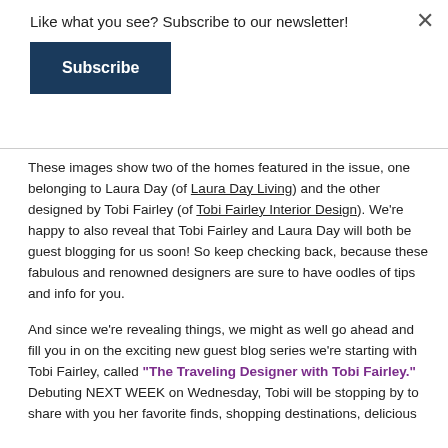×
Like what you see? Subscribe to our newsletter!
Subscribe
These images show two of the homes featured in the issue, one belonging to Laura Day (of Laura Day Living) and the other designed by Tobi Fairley (of Tobi Fairley Interior Design). We're happy to also reveal that Tobi Fairley and Laura Day will both be guest blogging for us soon! So keep checking back, because these fabulous and renowned designers are sure to have oodles of tips and info for you.
And since we're revealing things, we might as well go ahead and fill you in on the exciting new guest blog series we're starting with Tobi Fairley, called "The Traveling Designer with Tobi Fairley." Debuting NEXT WEEK on Wednesday, Tobi will be stopping by to share with you her favorite finds, shopping destinations, delicious